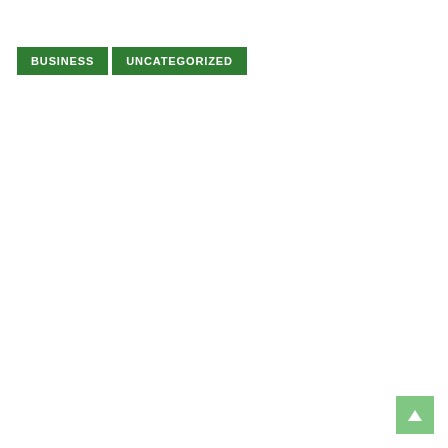BUSINESS   UNCATEGORIZED
[Figure (other): Back to top arrow button, green rounded square with white upward arrow]